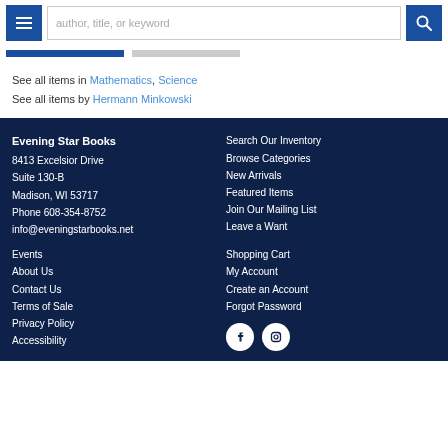author, title, or keyword [search bar]
See all items in Mathematics, Science
See all items by Hermann Minkowski
Evening Star Books
8413 Excelsior Drive
Suite 130-B
Madison, WI 53717
Phone 608-354-8752
info@eveningstarbooks.net
Search Our Inventory
Browse Categories
New Arrivals
Featured Items
Join Our Mailing List
Leave a Want
Events
About Us
Contact Us
Terms of Sale
Privacy Policy
Accessibility
Shopping Cart
My Account
Create an Account
Forgot Password
[Figure (logo): Facebook and Instagram social media icons (white icons in white circles on dark navy background)]